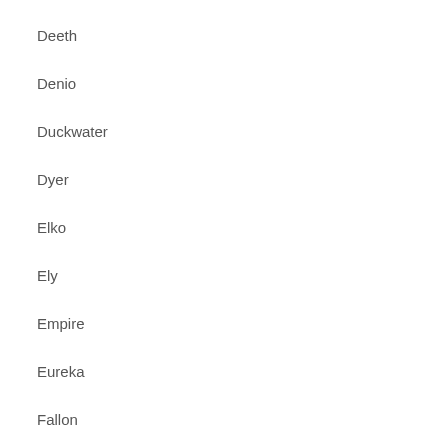Deeth
Denio
Duckwater
Dyer
Elko
Ely
Empire
Eureka
Fallon
Fernley
Gabbs